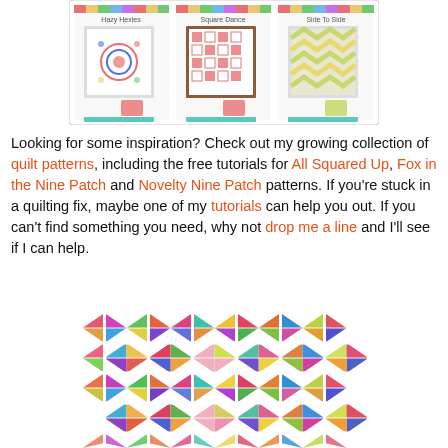[Figure (illustration): Three quilt pattern product images side by side: Hazy Hexies, Square Dance, and Side To Side, showing quilts framed and displayed with small accent pillows]
Looking for some inspiration? Check out my growing collection of quilt patterns, including the free tutorials for All Squared Up, Fox in the Nine Patch and Novelty Nine Patch patterns. If you're stuck in a quilting fix, maybe one of my tutorials can help you out. If you can't find something you need, why not drop me a line and I'll see if I can help.
[Figure (photo): Colorful quilt pattern featuring diamond shapes with triangles in rainbow colors arranged in a grid on a white background]